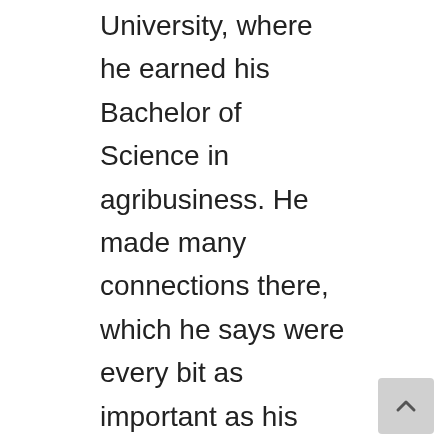University, where he earned his Bachelor of Science in agribusiness. He made many connections there, which he says were every bit as important as his degree.
As a student, Holbert worked for Deane Robinson Seed Company (Deane). He also worked as an intern with Monsanto, where he managed replant claims. His internship opened many new opportunities and helped him meet new people across Arkansas.
Holbert currently works as a seed sales consultant for Deane, advising farmers on